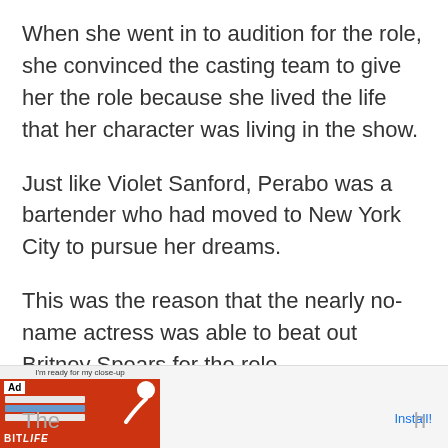When she went in to audition for the role, she convinced the casting team to give her the role because she lived the life that her character was living in the show.
Just like Violet Sanford, Perabo was a bartender who had moved to New York City to pursue her dreams.
This was the reason that the nearly no-name actress was able to beat out Britney Spears for the role.
[Figure (screenshot): Advertisement banner for BitLife - Life Simulator app with red background and sperm icon, showing Install button]